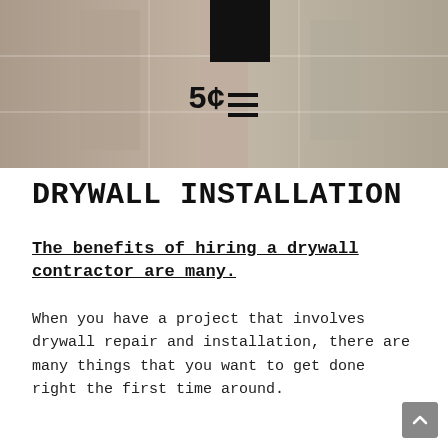[Figure (photo): A photo of a person in a room, likely a contractor or worker. The image has a grayish-brown tone with grid overlay lines and a dark black rectangle in the upper center area. A '5¢' style icon appears overlaid in the center.]
DRYWALL INSTALLATION
The benefits of hiring a drywall contractor are many.
When you have a project that involves drywall repair and installation, there are many things that you want to get done right the first time around.